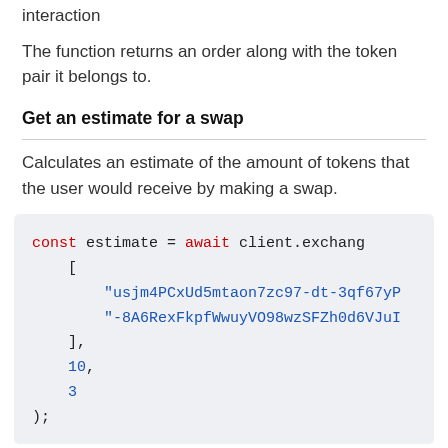interaction
The function returns an order along with the token pair it belongs to.
Get an estimate for a swap
Calculates an estimate of the amount of tokens that the user would receive by making a swap.
const estimate = await client.exchang[
    "usjm4PCxUd5mtaon7zc97-dt-3qf67yP
    "-8A6RexFkpfWwuyVO98wzSFZh0d6VJuI
],
10,
3
);